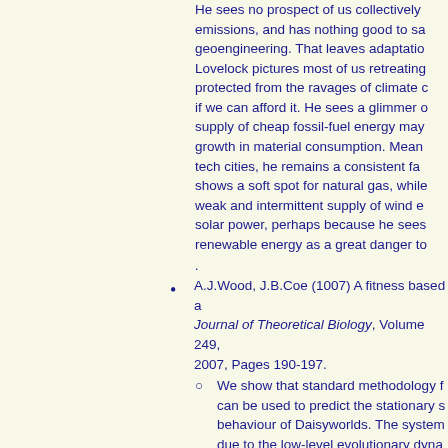He sees no prospect of us collectively reducing emissions, and has nothing good to say about geoengineering. That leaves adaptation. Lovelock pictures most of us retreating to cities protected from the ravages of climate change, if we can afford it. He sees a glimmer of hope: supply of cheap fossil-fuel energy may slow growth in material consumption. Meanwhile, in tech cities, he remains a consistent fan of nuclear, shows a soft spot for natural gas, while condemning weak and intermittent supply of wind energy and solar power, perhaps because he sees distributed renewable energy as a great danger to
A.J.Wood, J.B.Coe (1007) A fitness based a... Journal of Theoretical Biology, Volume 249, 2007, Pages 190-197.
We show that standard methodology f... can be used to predict the stationary s... behaviour of Daisyworlds. The system... due to the low-level evolutionary dyna... the thermally coupled daisies, no highe... A reconciliation of Gaia with evolutiona... development of evolutionary argument... self-regulatory systems.
Timothy M. Lenton, Bruno Latour (201...)...